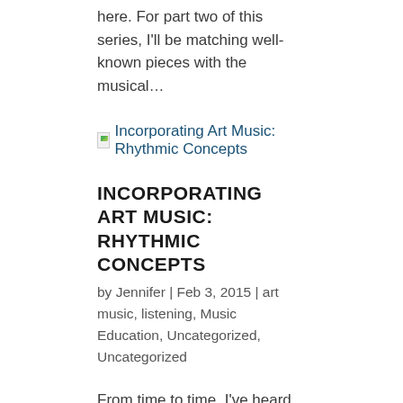here. For part two of this series, I'll be matching well-known pieces with the musical…
[Figure (illustration): Broken image placeholder followed by link text: Incorporating Art Music: Rhythmic Concepts]
INCORPORATING ART MUSIC: RHYTHMIC CONCEPTS
by Jennifer | Feb 3, 2015 | art music, listening, Music Education, Uncategorized, Uncategorized
From time to time, I've heard fellow music teachers say that they rarely incorporate art music into their elementary music classroom. Most often, they see the complexities in the music as a hindrance. However, as Feierabend and other experts have pointed out,…